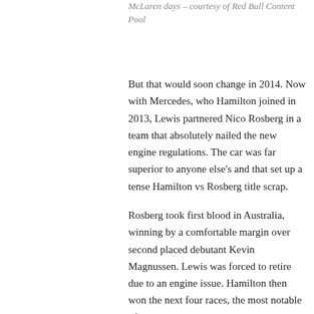McLaren days – courtesy of Red Bull Content Pool
But that would soon change in 2014. Now with Mercedes, who Hamilton joined in 2013, Lewis partnered Nico Rosberg in a team that absolutely nailed the new engine regulations. The car was far superior to anyone else's and that set up a tense Hamilton vs Rosberg title scrap.
Rosberg took first blood in Australia, winning by a comfortable margin over second placed debutant Kevin Magnussen. Lewis was forced to retire due to an engine issue. Hamilton then won the next four races, the most notable of which was Bahrain. Rosberg and Hamilton battled lap after lap but ultimately it was Lewis who